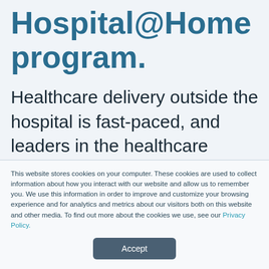Hospital@Home program.
Healthcare delivery outside the hospital is fast-paced, and leaders in the healthcare industry must work toward innovating virtual healthcare solutions for better clinical outcomes while
This website stores cookies on your computer. These cookies are used to collect information about how you interact with our website and allow us to remember you. We use this information in order to improve and customize your browsing experience and for analytics and metrics about our visitors both on this website and other media. To find out more about the cookies we use, see our Privacy Policy.